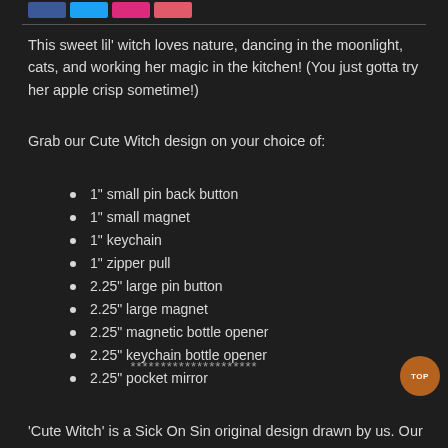This sweet lil' witch loves nature, dancing in the moonlight, cats, and working her magic in the kitchen! (You just gotta try her apple crisp sometime!)
Grab our Cute Witch design on your choice of:
1" small pin back button
1" small magnet
1" keychain
1" zipper pull
2.25" large pin button
2.25" large magnet
2.25" magnetic bottle opener
2.25" keychain bottle opener
2.25" pocket mirror
*********************
'Cute Witch' is a Sick On Sin original design drawn by us. Our